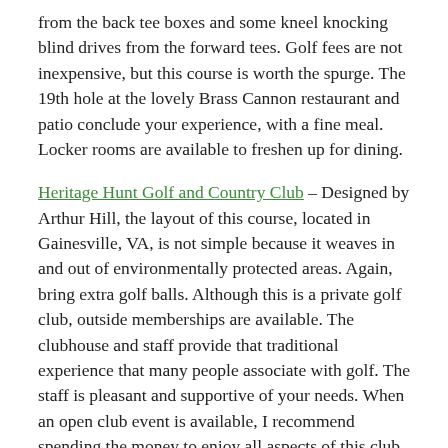from the back tee boxes and some kneel knocking blind drives from the forward tees. Golf fees are not inexpensive, but this course is worth the spurge. The 19th hole at the lovely Brass Cannon restaurant and patio conclude your experience, with a fine meal. Locker rooms are available to freshen up for dining.
Heritage Hunt Golf and Country Club – Designed by Arthur Hill, the layout of this course, located in Gainesville, VA, is not simple because it weaves in and out of environmentally protected areas. Again, bring extra golf balls. Although this is a private golf club, outside memberships are available. The clubhouse and staff provide that traditional experience that many people associate with golf. The staff is pleasant and supportive of your needs. When an open club event is available, I recommend spending the money to enjoy all aspects of this club.
Bull Run Golf Club – This public course in Haymarket